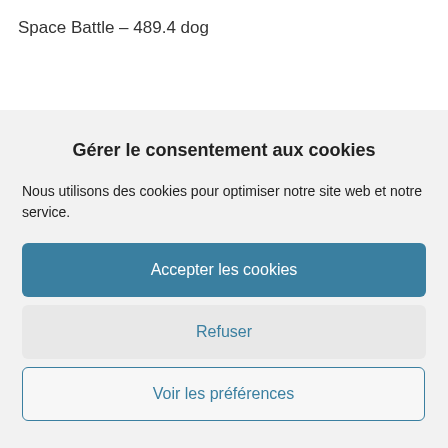Space Battle – 489.4 dog
Gérer le consentement aux cookies
Nous utilisons des cookies pour optimiser notre site web et notre service.
Accepter les cookies
Refuser
Voir les préférences